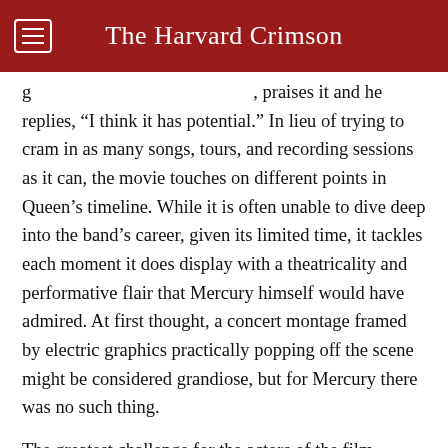The Harvard Crimson
praises it and he replies, “I think it has potential.” In lieu of trying to cram in as many songs, tours, and recording sessions as it can, the movie touches on different points in Queen’s timeline. While it is often unable to dive deep into the band’s career, given its limited time, it tackles each moment it does display with a theatricality and performative flair that Mercury himself would have admired. At first thought, a concert montage framed by electric graphics practically popping off the scene might be considered grandiose, but for Mercury there was no such thing.
The greatest challenge for the actors of the film, specifically for Malek, is doing justice to musical icons who are larger-than-life in every possible sense and meaning to the phrase. From Mercury’s struggles with his